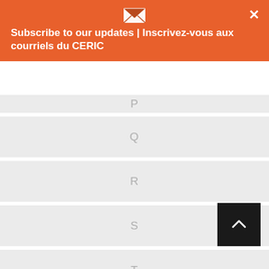Subscribe to our updates | Inscrivez-vous aux courriels du CERIC
P
Q
R
S
T
U
V